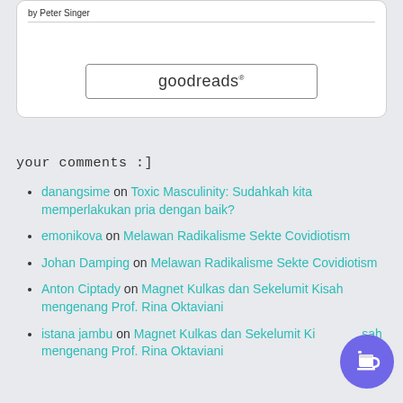[Figure (logo): Goodreads button with 'goodreads' text inside a rounded rectangle border]
your comments :]
danangsime on Toxic Masculinity: Sudahkah kita memperlakukan pria dengan baik?
emonikova on Melawan Radikalisme Sekte Covidiotism
Johan Damping on Melawan Radikalisme Sekte Covidiotism
Anton Ciptady on Magnet Kulkas dan Sekelumit Kisah mengenang Prof. Rina Oktaviani
istana jambu on Magnet Kulkas dan Sekelumit Kisah mengenang Prof. Rina Oktaviani